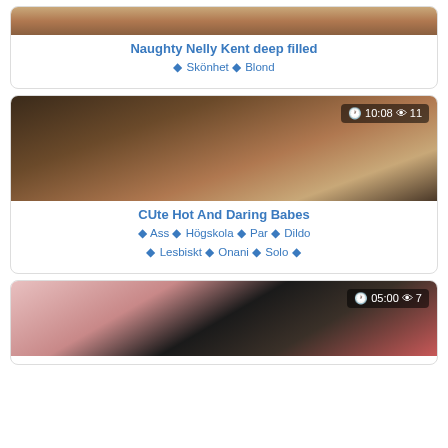[Figure (photo): Video thumbnail for Naughty Nelly Kent deep filled]
Naughty Nelly Kent deep filled
Skönhet Blond
[Figure (photo): Video thumbnail for CUte Hot And Daring Babes, duration 10:08, views 11]
CUte Hot And Daring Babes
Ass Högskola Par Dildo Lesbiskt Onani Solo
[Figure (photo): Video thumbnail, duration 05:00, views 7]